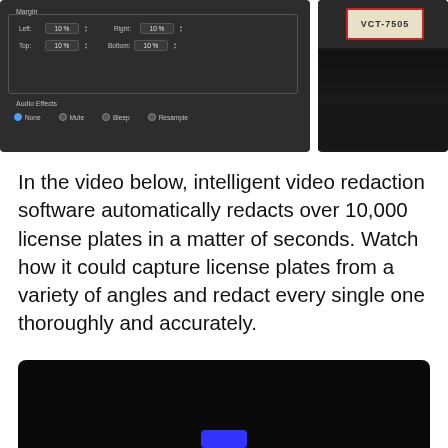[Figure (screenshot): Video redaction software UI panel showing Margin settings (Left: 10%, Right: 10%, Top: 10%, Bottom: 10%) and Audio Effects options (None selected, Mute, Bleep, Resample), alongside a video preview showing a license plate VCT-7505 with a red bounding box overlay]
In the video below, intelligent video redaction software automatically redacts over 10,000 license plates in a matter of seconds. Watch how it could capture license plates from a variety of angles and redact every single one thoroughly and accurately.
[Figure (screenshot): Black video player panel with a blue play button at the bottom center]